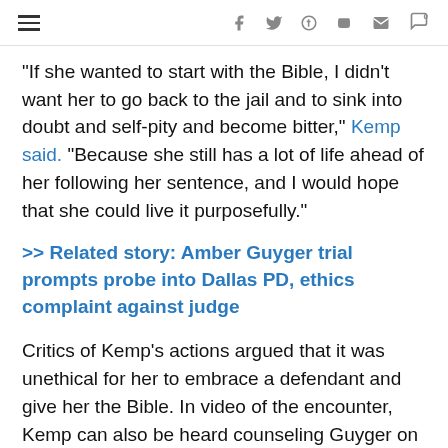≡  f  𝕡  p  d  ✉  💬0
"If she wanted to start with the Bible, I didn't want her to go back to the jail and to sink into doubt and self-pity and become bitter," Kemp said. "Because she still has a lot of life ahead of her following her sentence, and I would hope that she could live it purposefully."
>> Related story: Amber Guyger trial prompts probe into Dallas PD, ethics complaint against judge
Critics of Kemp's actions argued that it was unethical for her to embrace a defendant and give her the Bible. In video of the encounter, Kemp can also be heard counseling Guyger on which